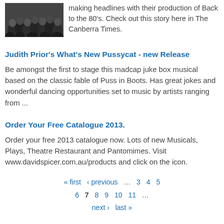[Figure (photo): Group photo of people, appears to be a crowd or audience scene]
making headlines with their production of Back to the 80's. Check out this story here in The Canberra Times.
Judith Prior's What's New Pussycat - new Release
Be amongst the first to stage this madcap juke box musical based on the classic fable of Puss in Boots. Has great jokes and wonderful dancing opportunities set to music by artists ranging from ...
Order Your Free Catalogue 2013.
Order your free 2013 catalogue now. Lots of new Musicals, Plays, Theatre Restaurant and Pantomimes. Visit www.davidspicer.com.au/products and click on the icon.
« first   ‹ previous   …   3   4   5   6   7   8   9   10   11   …   next ›   last »